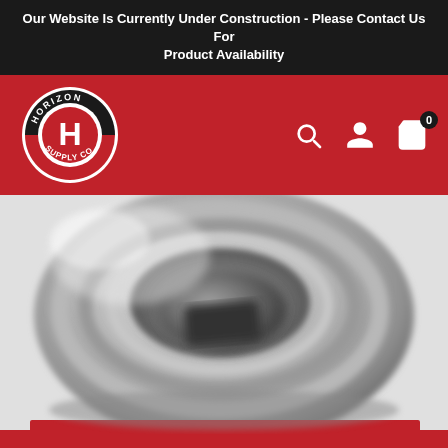Our Website Is Currently Under Construction - Please Contact Us For Product Availability
[Figure (logo): Horizon Supply Co circular logo — white ring, black outer arc with HORIZON text, red center with large H letter and SUPPLY CO text below]
[Figure (photo): Close-up top-down view of a stainless steel tumbler lid showing the spiral ridged screw-cap design and opening slot, in silver/grey tones with red base visible at bottom edge]